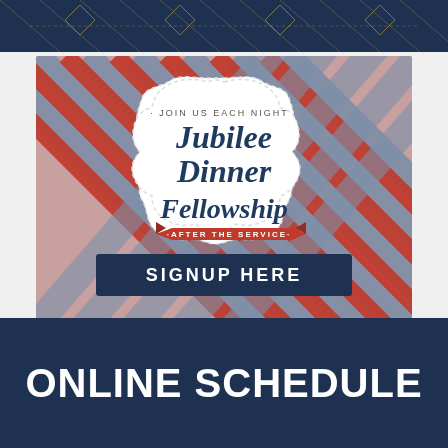[Figure (illustration): Top dark navy banner with geometric gold line pattern]
[Figure (infographic): Jubilee Dinner Fellowship signup card with red and blue plaid/diagonal stripe background, white badge shape in center reading 'JOIN US EACH NIGHT' with script text 'Jubilee Dinner Fellowship', red ribbon banner 'AFTER THE SERVICE', and dark navy bar at bottom reading 'SIGNUP HERE']
ONLINE SCHEDULE